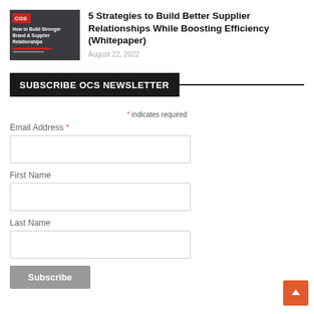[Figure (screenshot): Thumbnail image for article about building stronger brand and supplier relationships, showing CGS branding on a dark background with text overlay]
5 Strategies to Build Better Supplier Relationships While Boosting Efficiency (Whitepaper)
August 22, 2022
SUBSCRIBE OCS NEWSLETTER
* indicates required
Email Address *
First Name
Last Name
Subscribe